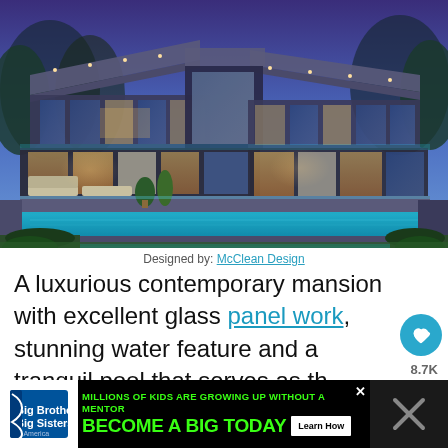[Figure (photo): Luxury contemporary mansion at dusk/twilight with glass walls, flat roof overhangs, illuminated pool and water feature, outdoor lounging area]
Designed by: McClean Design
A luxurious contemporary mansion with excellent glass panel work, stunning water feature and a tranquil pool that serves as the central highlight of the house.
[Figure (infographic): Ad banner: Big Brothers Big Sisters - Millions of kids are growing up without a mentor. Become a Big Today. Learn How.]